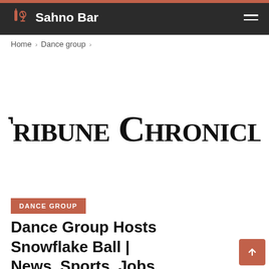Sahno Bar
Home > Dance group >
[Figure (logo): Tribune Chronicle newspaper logo in blackletter/gothic font style]
DANCE GROUP
Dance Group Hosts Snowflake Ball | News, Sports, Jobs